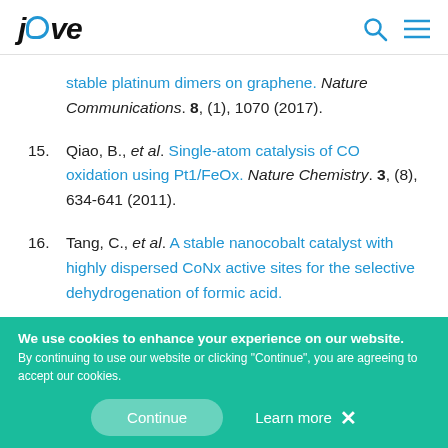JoVE [logo]
stable platinum dimers on graphene. Nature Communications. 8, (1), 1070 (2017).
15. Qiao, B., et al. Single-atom catalysis of CO oxidation using Pt1/FeOx. Nature Chemistry. 3, (8), 634-641 (2011).
16. Tang, C., et al. A stable nanocobalt catalyst with highly dispersed CoNx active sites for the selective dehydrogenation of formic acid.
We use cookies to enhance your experience on our website. By continuing to use our website or clicking "Continue", you are agreeing to accept our cookies.